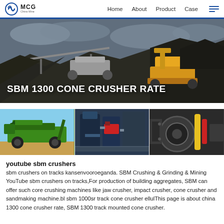MCG — Home  About  Product  Case
[Figure (photo): Industrial mining/crushing site with large machinery including conveyor belts and yellow wheel loader against a cloudy sky, with piles of dark aggregate material]
SBM 1300 CONE CRUSHER RATE
[Figure (photo): Three side-by-side photos: a green mobile crusher machine on sandy ground; blue industrial crushing/grinding machinery indoors; and close-up of industrial motor/engine components]
youtube sbm crushers
sbm crushers on tracks kansenvooroeganda. SBM Crushing & Grinding & Mining YouTube sbm crushers on tracks,For production of building aggregates, SBM can offer such core crushing machines like jaw crusher, impact crusher, cone crusher and sandmaking machine.bl sbm 1000sr track cone crusher ellulThis page is about china 1300 cone crusher rate, SBM 1300 track mounted cone crusher.